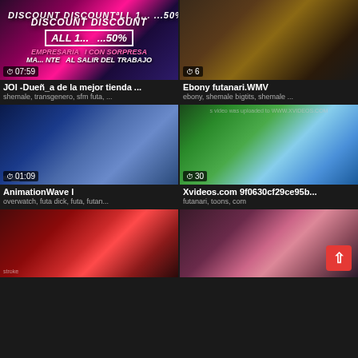[Figure (screenshot): Video thumbnail: animated scene with 'DISCOUNT DISCOUNT ALL 1... ...50%' text overlay, pink/purple tones, duration 07:59]
JOI -Dueñ_a de la mejor tienda ...
shemale, transgenero, sfm futa, ...
[Figure (screenshot): Video thumbnail: 3D rendered scene, brown tones, duration 6]
Ebony futanari.WMV
ebony, shemale bigtits, shemale ...
[Figure (screenshot): Video thumbnail: 3D animated blue character, overwatch style, duration 01:09]
AnimationWave I
overwatch, futa dick, futa, futan...
[Figure (screenshot): Video thumbnail: 2D cartoon blue female character on beach/outdoor background, WWW.XVIDEOS.COM watermark, duration 30]
Xvideos.com 9f0630cf29ce95b...
futanari, toons, com
[Figure (screenshot): Video thumbnail: 3D animated character with red/black hexagon background, stroke watermark]
[Figure (screenshot): Video thumbnail: 3D animated female character, pink background, partially visible]